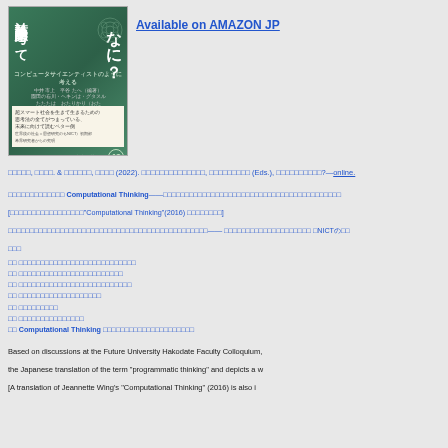[Figure (illustration): Book cover with Japanese text showing a book about Computational Thinking, teal/green colored cover]
Available on AMAZON JP
□□□□□, □□□□. & □□□□□□, □□□□ (2022). □□□□□□□□□□□□□□, □□□□□□□□□ (Eds.), □□□□□□□□□□?— online.
□□□□□□□□□□□□□ Computational Thinking——□□□□□□□□□□□□□□□□□□□□□□□□□□□□□□□□□□□□□□□□□ [□□□□□□□□□□□□□□□□□"Computational Thinking"(2016) □□□□□□□□] □□□□□□□□□□□□□□□□□□□□□□□□□□□□□□□□□□□□□□□□□□□□□—— □□□□□□□□□□□□□□□□□□□□ □NICTの□□□
□□ □□□□□□□□□□□□□□□□□□□□□□□□□□□
□□ □□□□□□□□□□□□□□□□□□□□□□□□
□□ □□□□□□□□□□□□□□□□□□□□□□□□□□
□□ □□□□□□□□□□□□□□□□□□□
□□ □□□□□□□□□
□□ □□□□□□□□□□□□□□□
□□ Computational Thinking □□□□□□□□□□□□□□□□□□□□□
Based on discussions at the Future University Hakodate Faculty Colloquium, the Japanese translation of the term "programmatic thinking" and depicts a w [A translation of Jeannette Wing's "Computational Thinking" (2016) is also i